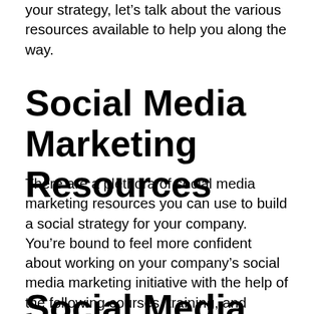your strategy, let's talk about the various resources available to help you along the way.
Social Media Marketing Resources
There are a plethora of social media marketing resources you can use to build a social strategy for your company. You're bound to feel more confident about working on your company's social media marketing initiative with the help of the following courses, training, and books.
Social Media Marketing